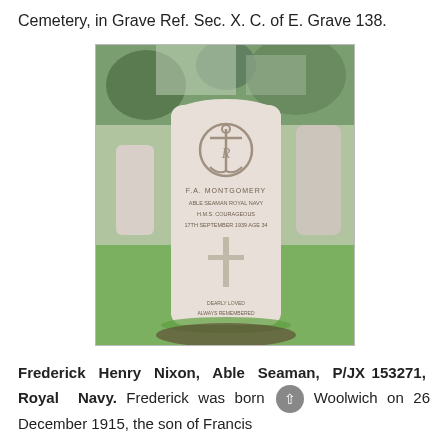Cemetery, in Grave Ref. Sec. X. C. of E. Grave 138.
[Figure (photo): A Commonwealth War Graves Commission headstone for F.A. Montgomery, Able Seaman Royal Navy, HMS Courage, photographed in a cemetery with green grass and other gravestones visible in the background. The headstone features an anchor emblem at the top and a cross carved below the inscription.]
Frederick Henry Nixon, Able Seaman, P/JX 153271, Royal Navy. Frederick was born in Woolwich on 26 December 1915, the son of Francis